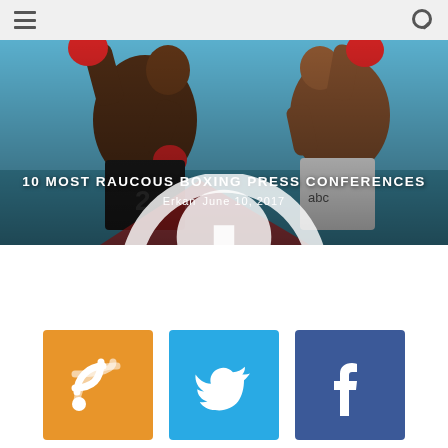☰  🔍
[Figure (photo): Two boxers in a ring, one wearing red gloves, photographed during a match. A blue background is visible behind them. The image is dark with an overlay.]
10 MOST RAUCOUS BOXING PRESS CONFERENCES
Erkan   June 10, 2017
[Figure (infographic): Three social media icon buttons: RSS (orange), Twitter (blue), Facebook (dark blue).]